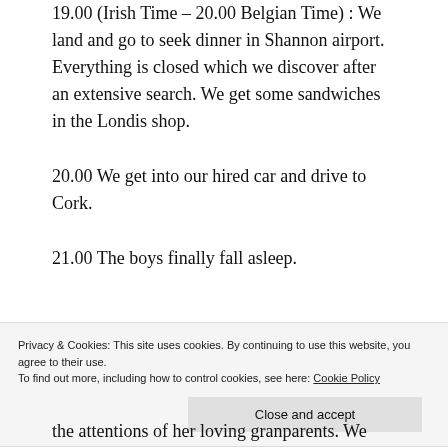19.00 (Irish Time – 20.00 Belgian Time) : We land and go to seek dinner in Shannon airport. Everything is closed which we discover after an extensive search. We get some sandwiches in the Londis shop.
20.00 We get into our hired car and drive to Cork.
21.00 The boys finally fall asleep.
Privacy & Cookies: This site uses cookies. By continuing to use this website, you agree to their use. To find out more, including how to control cookies, see here: Cookie Policy
the attentions of her loving granparents. We